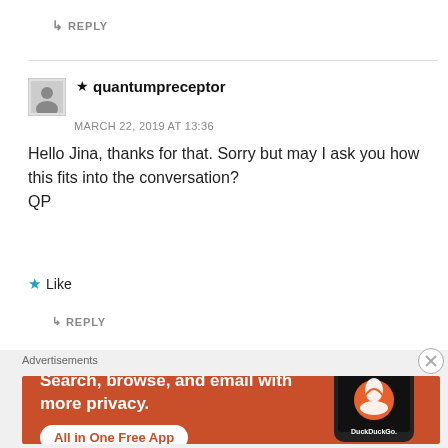↳ REPLY
★ quantumpreceptor
MARCH 22, 2019 AT 13:36
Hello Jina, thanks for that. Sorry but may I ask you how this fits into the conversation?
QP
★ Like
↳ REPLY
[Figure (screenshot): DuckDuckGo advertisement banner with orange background. Text: 'Search, browse, and email with more privacy. All in One Free App'. Shows a smartphone with the DuckDuckGo logo.]